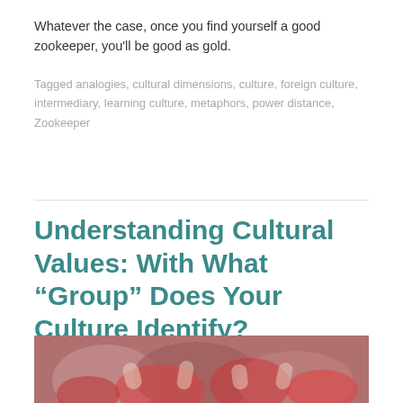Whatever the case, once you find yourself a good zookeeper, you'll be good as gold.
Tagged analogies, cultural dimensions, culture, foreign culture, intermediary, learning culture, metaphors, power distance, Zookeeper
Understanding Cultural Values: With What “Group” Does Your Culture Identify?
28. June 2019 by J. Wittwer — 1 Comment
[Figure (photo): Close-up of multiple hands holding red flower petals or rose buds together]